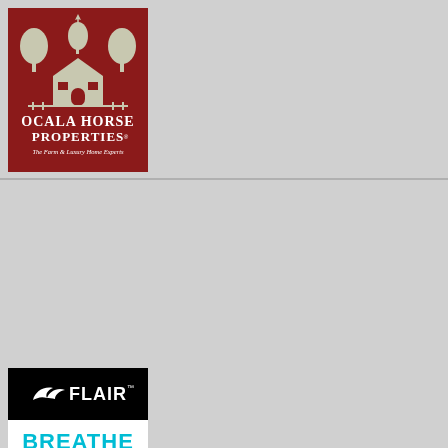[Figure (logo): Ocala Horse Properties logo — dark red/maroon background with white illustration of a barn/estate with trees, text reading OCALA HORSE PROPERTIES, The Farm & Luxury Home Experts]
[Figure (advertisement): Flair nasal strips advertisement. Top section: black background with Flair logo (white bird/swoosh graphic and FLAIR text). Middle section: white background with bold teal text BREATHE EASIER. Bottom section: black background with white nasal strip product image and FLAIRSTRIPS.COM in teal.]